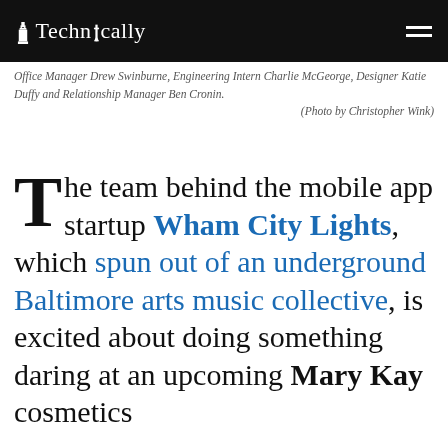Technically
Office Manager Drew Swinburne, Engineering Intern Charlie McGeorge, Designer Katie Duffy and Relationship Manager Ben Cronin. (Photo by Christopher Wink)
The team behind the mobile app startup Wham City Lights, which spun out of an underground Baltimore arts music collective, is excited about doing something daring at an upcoming Mary Kay cosmetics